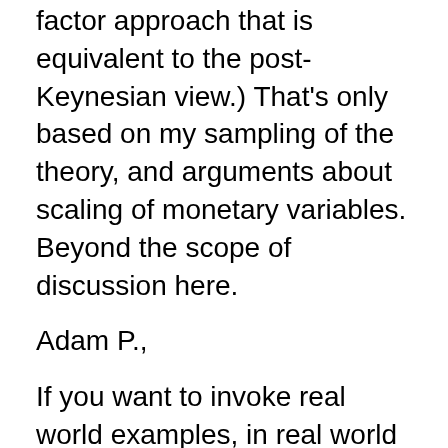PAPER (Of an institutional factor approach that is equivalent to the post-Keynesian view.) That's only based on my sampling of the theory, and arguments about scaling of monetary variables. Beyond the scope of discussion here.
Adam P.,
If you want to invoke real world examples, in real world pricers, "money" has a NPV of 1 by definition in real world pricers. You cannot argue with definitions.
What I demonstrated is that a sequence of putable